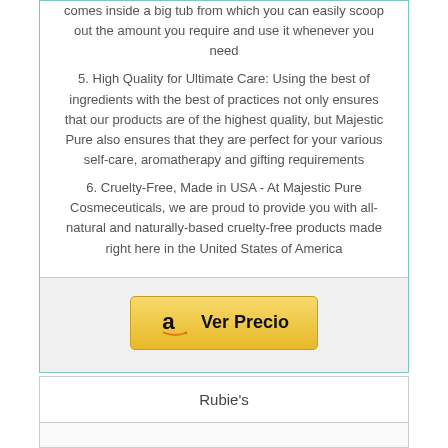comes inside a big tub from which you can easily scoop out the amount you require and use it whenever you need
5. High Quality for Ultimate Care: Using the best of ingredients with the best of practices not only ensures that our products are of the highest quality, but Majestic Pure also ensures that they are perfect for your various self-care, aromatherapy and gifting requirements
6. Cruelty-Free, Made in USA - At Majestic Pure Cosmeceuticals, we are proud to provide you with all-natural and naturally-based cruelty-free products made right here in the United States of America
[Figure (other): Amazon 'Ver Precio' button with Amazon logo]
Rubie's